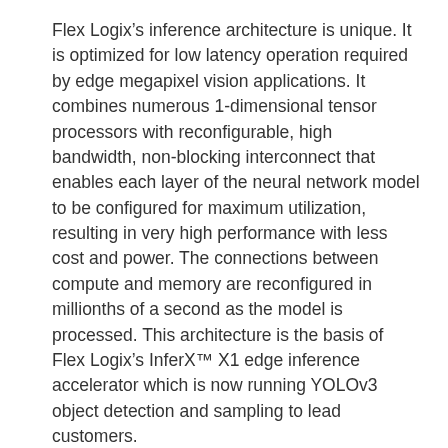Flex Logix's inference architecture is unique. It is optimized for low latency operation required by edge megapixel vision applications. It combines numerous 1-dimensional tensor processors with reconfigurable, high bandwidth, non-blocking interconnect that enables each layer of the neural network model to be configured for maximum utilization, resulting in very high performance with less cost and power. The connections between compute and memory are reconfigured in millionths of a second as the model is processed. This architecture is the basis of Flex Logix's InferX™ X1 edge inference accelerator which is now running YOLOv3 object detection and sampling to lead customers.
“We are impressed with the very high inference-throughput/$ architecture that Flex Logix has developed based on unique intellectual property that gives it a sustainable competitive advantage in a very high growth market,” said Ajay Royan, managing general partner and founder of Mithril Capital